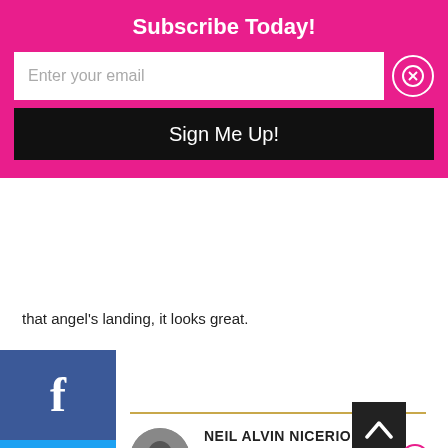Subscribe Today!
Enter your email
Sign Me Up!
that angel's landing, it looks great.
Loading...
PLY
NEIL ALVIN NICERIO
June 6, 2019 at 2:43 am
Advertisements